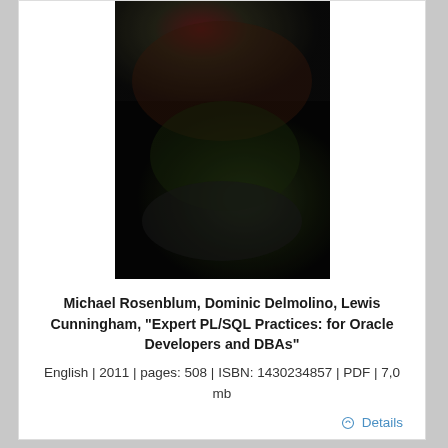[Figure (photo): Blurred dark book cover image, predominantly black and dark green tones]
Michael Rosenblum, Dominic Delmolino, Lewis Cunningham, "Expert PL/SQL Practices: for Oracle Developers and DBAs"
English | 2011 | pages: 508 | ISBN: 1430234857 | PDF | 7,0 mb
Details